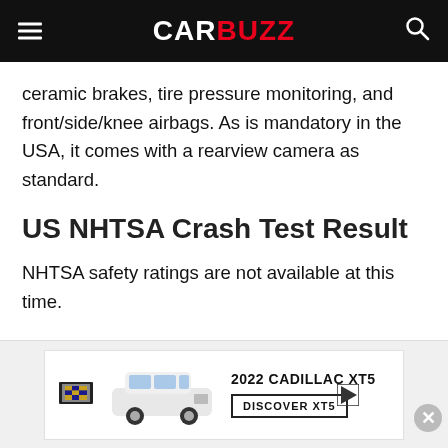CARBUZZ
ceramic brakes, tire pressure monitoring, and front/side/knee airbags. As is mandatory in the USA, it comes with a rearview camera as standard.
US NHTSA Crash Test Result
NHTSA safety ratings are not available at this time.
Key Safety Features
[Figure (other): Advertisement banner for 2022 Cadillac XT5 with car image, Cadillac logo, and DISCOVER XT5 button]